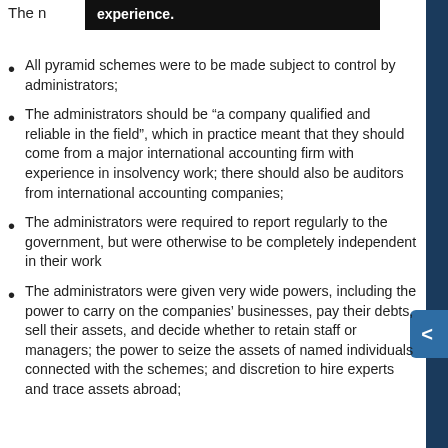The r…experience.
All pyramid schemes were to be made subject to control by administrators;
The administrators should be “a company qualified and reliable in the field”, which in practice meant that they should come from a major international accounting firm with experience in insolvency work; there should also be auditors from international accounting companies;
The administrators were required to report regularly to the government, but were otherwise to be completely independent in their work
The administrators were given very wide powers, including the power to carry on the companies’ businesses, pay their debts, sell their assets, and decide whether to retain staff or managers; the power to seize the assets of named individuals connected with the schemes; and discretion to hire experts and trace assets abroad;